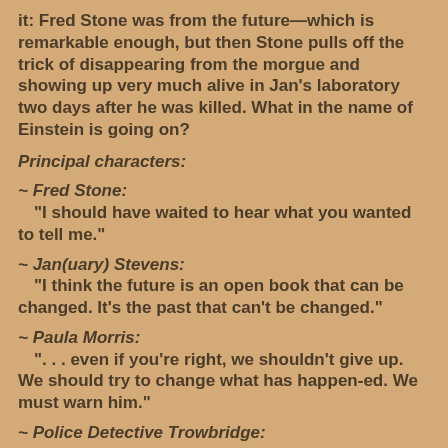it: Fred Stone was from the future—which is remarkable enough, but then Stone pulls off the trick of disappearing from the morgue and showing up very much alive in Jan's laboratory two days after he was killed. What in the name of Einstein is going on?
Principal characters:
~ Fred Stone:
"I should have waited to hear what you wanted to tell me."
~ Jan(uary) Stevens:
"I think the future is an open book that can be changed. It's the past that can't be changed."
~ Paula Morris:
"... even if you're right, we shouldn't give up. We should try to change what has happen-ed. We must warn him."
~ Police Detective Trowbridge:
"Do you know anything that a man from the future might be very anxious to find out? Enough so to come back in Time? Something so important that someone else from his Time would follow him and kill him to keep